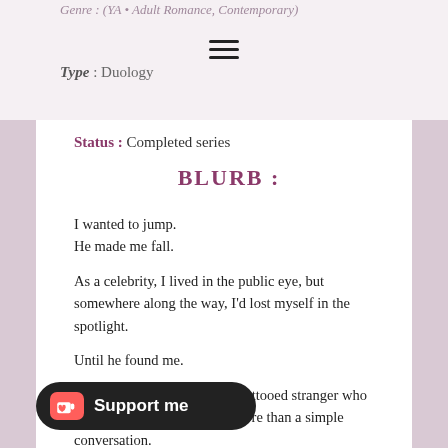Genre : (YA • Adult Romance, Contemporary)
Type : Duology
Status : Completed series
BLURB :
I wanted to jump.
He made me fall.
As a celebrity, I lived in the public eye, but somewhere along the way, I'd lost myself in the spotlight.
Until he found me.
Sam Rivers was a gorgeous, tattooed stranger who saved my life with nothing more than a simple conversation.
n that bridge for a reason the night we met. The secrets of our pasts brought us together—and then tore us